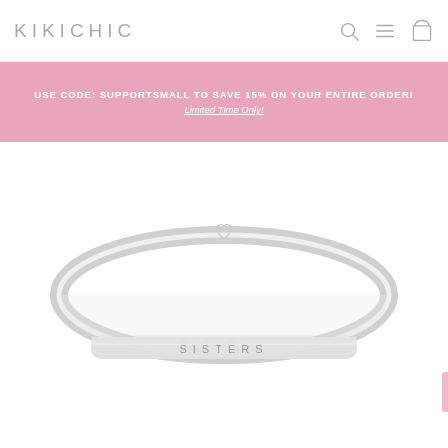KIKICHIC
USE CODE: SUPPORTSMALL TO SAVE 15% ON YOUR ENTIRE ORDER! Limited Time Only!
[Figure (photo): Silver bangle bracelet with 'SISTERS' engraved on the flat front bar, with a small heart-shaped clasp, shown on white background with reflection below.]